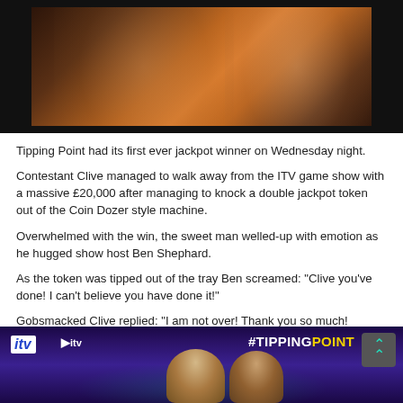[Figure (photo): Two men smiling and hugging, one in a dark suit and one in a pink top, against a warm orange/dark background — TV show screenshot]
Tipping Point had its first ever jackpot winner on Wednesday night.
Contestant Clive managed to walk away from the ITV game show with a massive £20,000 after managing to knock a double jackpot token out of the Coin Dozer style machine.
Overwhelmed with the win, the sweet man welled-up with emotion as he hugged show host Ben Shephard.
As the token was tipped out of the tray Ben screamed: "Clive you've done! I can't believe you have done it!"
Gobsmacked Clive replied: "I am not over! Thank you so much!
[Figure (screenshot): ITV Tipping Point TV show screenshot showing two contestants and host, with ITV logo and #TIPPINGPOINT hashtag overlay]